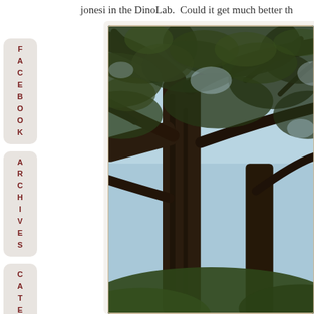jonesi in the DinoLab.  Could it get much better th
FACEBOOK
ARCHIVES
CATEGORIES
[Figure (photo): Photograph looking up through large spreading oak tree branches with dense green foliage against a bright sky, taken from below at an angle]